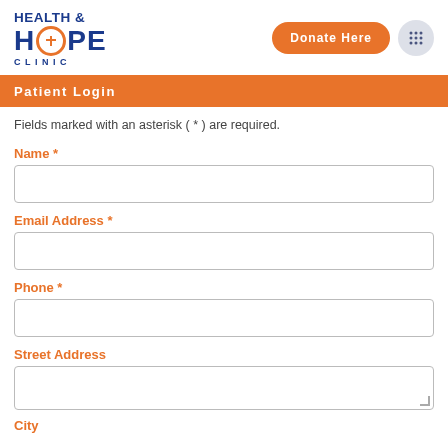[Figure (logo): Health & Hope Clinic logo with cross icon in orange circle, blue bold text]
Patient Login
Fields marked with an asterisk ( * ) are required.
Name *
Email Address *
Phone *
Street Address
City